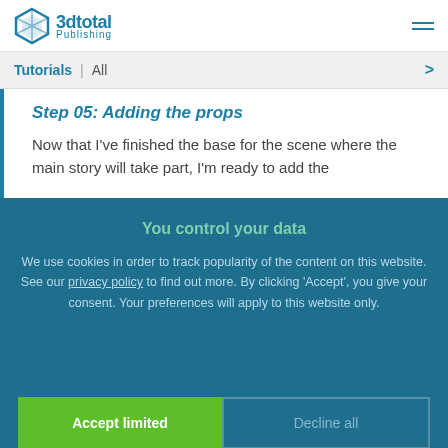3dtotal Publishing
Tutorials | All
Step 05: Adding the props
Now that I've finished the base for the scene where the main story will take part, I'm ready to add the
You control your data
We use cookies in order to track popularity of the content on this website. See our privacy policy to find out more. By clicking 'Accept', you give your consent. Your preferences will apply to this website only.
Accept limited
Decline all